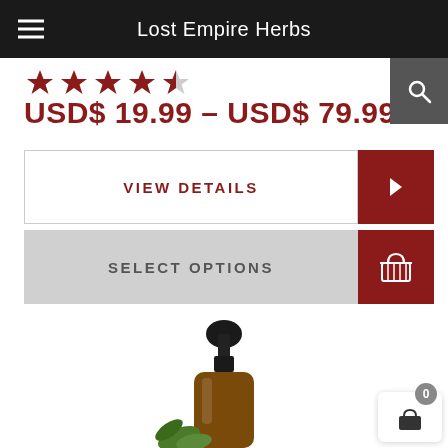Lost Empire Herbs
[Figure (other): Star rating row showing approximately 4 out of 5 stars in dark red/gold color]
USD$ 19.99 – USD$ 79.99
VIEW DETAILS
SELECT OPTIONS
[Figure (photo): Amber glass dropper bottle with black rubber dropper top, with green herb leaves at base, on white background]